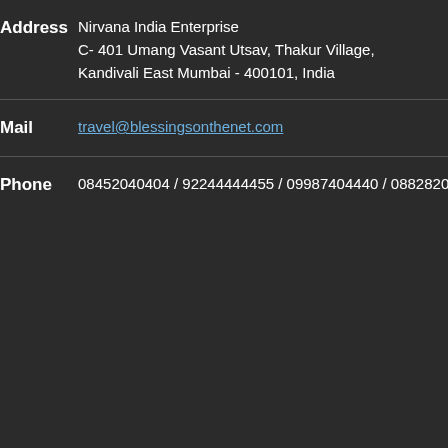| Field | Value |
| --- | --- |
| Address | Nirvana India Enterprise
C- 401 Umang Vasant Utsav, Thakur Village,
Kandivali East Mumbai - 400101, India |
| Mail | travel@blessingsonthenet.com |
| Phone | 08452040404 / 92244444455 / 09987404440 / 08828204440 / |